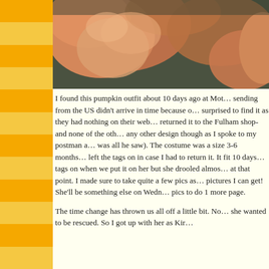[Figure (photo): Photo of a cat (ginger/orange fur) lying on a dark green surface, cropped to show mostly upper body and head area, partially cut off at top.]
I found this pumpkin outfit about 10 days ago at Mot… sending from the US didn't arrive in time because o… surprised to find it as they had nothing on their web… returned it to the Fulham shop- and none of the oth… any other design though as I spoke to my postman a… was all he saw). The costume was a size 3-6 months … left the tags on in case I had to return it. It fit 10 days… tags on when we put it on her but she drooled almos… at that point. I made sure to take quite a few pics as … pictures I can get! She'll be something else on Wedn… pics to do 1 more page.
The time change has thrown us all off a little bit. No… she wanted to be rescued. So I got up with her as Kir…